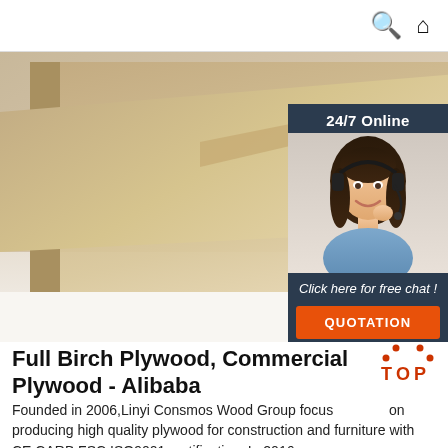Search | Home
[Figure (photo): Close-up photo of MDF/plywood boards stacked at an angle showing the smooth beige surface and edges, with a customer service chat widget overlay on the right side showing a woman with headset, '24/7 Online' banner, 'Click here for free chat!' text, and an orange QUOTATION button]
Full Birch Plywood, Commercial Plywood - Alibaba
Founded in 2006,Linyi Consmos Wood Group focuses on producing high quality plywood for construction and furniture with CE,CARB,FSC,ISO9001 certification; In 2016